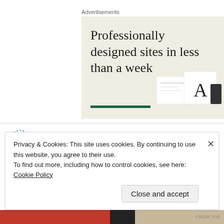Advertisements
[Figure (illustration): Advertisement banner with beige background showing text 'Professionally designed sites in less than a week' with a green underline bar and mockup images of design cards on the right side.]
Ingeborg on February 5, 2017 at 5:12 pm
Privacy & Cookies: This site uses cookies. By continuing to use this website, you agree to their use.
To find out more, including how to control cookies, see here: Cookie Policy